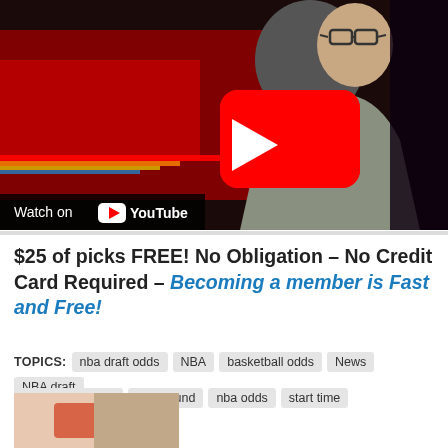[Figure (screenshot): YouTube video thumbnail showing a man in a grey blazer and glasses sitting at a desk with a red broadcast background. A red YouTube play button overlay is centered on the image. A 'Watch on YouTube' bar is visible at the bottom left.]
$25 of picks FREE! No Obligation – No Credit Card Required – Becoming a member is Fast and Free!
TOPICS: nba draft odds  NBA  basketball odds  News  NBA draft  Brandon Watson  First round  nba odds  start time
[Figure (photo): Partial thumbnail image at the bottom of the page, partially cut off.]